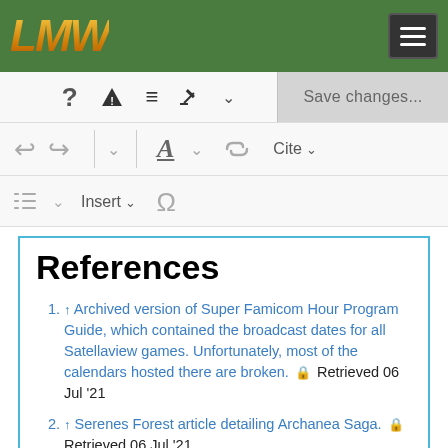LMW [logo] with hamburger menu button
[Figure (screenshot): Wiki editor toolbar with save changes button, undo/redo, formatting icons, insert and special character options]
References
↑ Archived version of Super Famicom Hour Program Guide, which contained the broadcast dates for all Satellaview games. Unfortunately, most of the calendars hosted there are broken. 🔒 Retrieved 06 Jul '21
↑ Serenes Forest article detailing Archanea Saga. 🔒 Retrieved 06 Jul '21